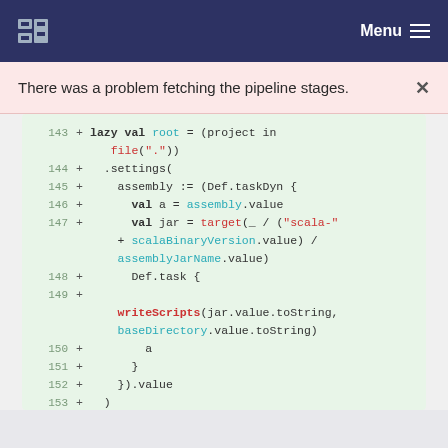Menu
There was a problem fetching the pipeline stages.
[Figure (screenshot): Code diff snippet showing Scala build configuration lines 143-153 with green background indicating added lines. Line 143: + lazy val root = (project in file(".")). Line 144: + .settings(. Line 145: + assembly := (Def.taskDyn {. Line 146: + val a = assembly.value. Line 147: + val jar = target(_ / ("scala-" + scalaBinaryVersion.value) / assemblyJarName.value). Line 148: + Def.task {. Line 149: + writeScripts(jar.value.toString, baseDirectory.value.toString). Line 150: + a. Line 151: + }. Line 152: + }).value. Line 153: + )]